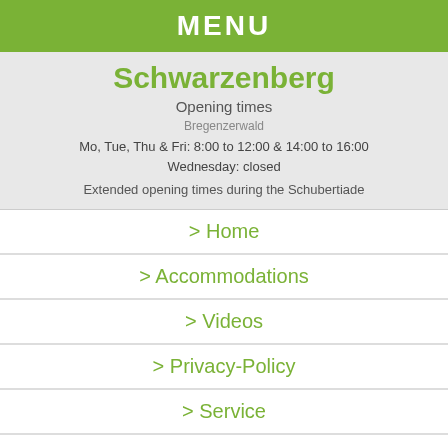MENU
Schwarzenberg
Opening times
Bregenzerwald
Mo, Tue, Thu & Fri: 8:00 to 12:00 & 14:00 to 16:00
Wednesday: closed
Extended opening times during the Schubertiade
> Home
> Accommodations
> Videos
> Privacy-Policy
> Service
> Online credits
> Sitemap